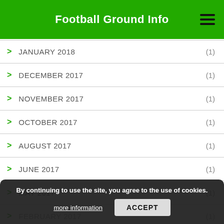Football Ground Info
JANUARY 2018 (1)
DECEMBER 2017 (1)
NOVEMBER 2017 (1)
OCTOBER 2017 (1)
AUGUST 2017 (1)
JUNE 2017 (1)
MAY 2017 (1)
FEBRUARY 2017 (1)
JANUARY 2017 (6)
By continuing to use the site, you agree to the use of cookies. more information  ACCEPT